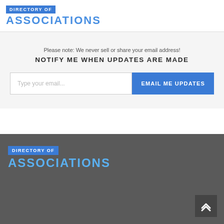DIRECTORY OF ASSOCIATIONS
Please note: We never sell or share your email address!
NOTIFY ME WHEN UPDATES ARE MADE
Type your email... EMAIL ME UPDATES
DIRECTORY OF ASSOCIATIONS